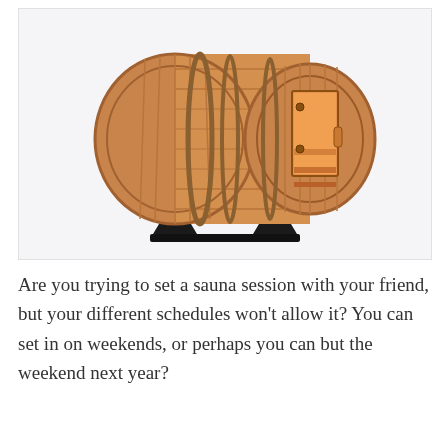[Figure (photo): A wooden barrel sauna with natural cedar wood planks, open door revealing warm interior with benches, mounted on black metal cradle stands.]
Are you trying to set a sauna session with your friend, but your different schedules won't allow it? You can set in on weekends, or perhaps you can but the weekend next year?